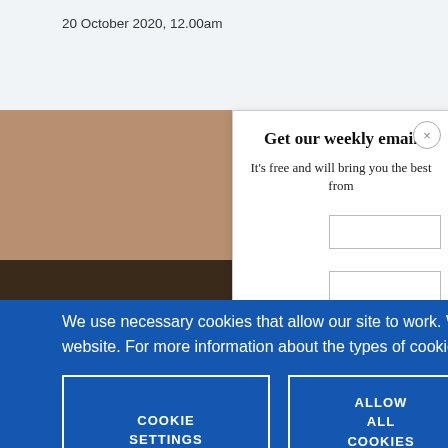20 October 2020, 12.00am
[Figure (photo): Partial view of a person with brown hair against a brown/tan background]
Get our weekly email
It's free and will bring you the best from
We use necessary cookies that allow our site to work. We also set optional cookies that help us improve our website. For more information about the types of cookies we use. READ OUR COOKIES POLICY HERE
COOKIE SETTINGS
ALLOW ALL COOKIES
data.
Desirée Soll